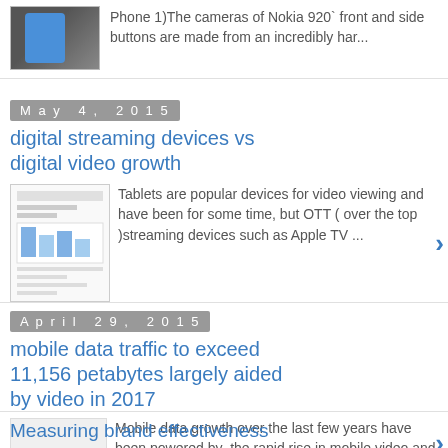Phone 1)The cameras of Nokia 920` front and side buttons are made from an incredibly har...
May 4, 2015
digital streaming devices vs digital video growth
Tablets are popular devices for video viewing and have been for some time, but OTT ( over the top )streaming devices such as Apple TV ...
April 29, 2015
mobile data traffic to exceed 11,156 petabytes largely aided by video in 2017
Mobile data growth over the last few years have been powered by  the rapid rise in mobile video and this trend shows no signs of slowin...
Measuring brand effectiveness